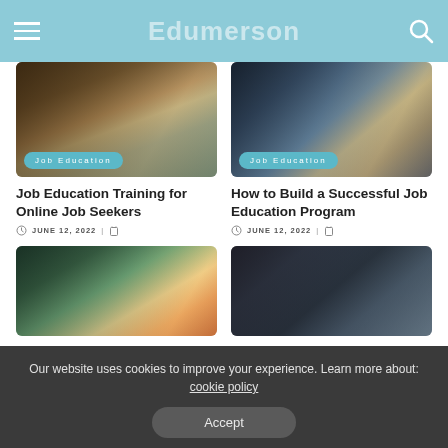Edumerson
[Figure (photo): Classroom scene with students and teacher at a blackboard, with 'Job Education' badge overlay]
[Figure (photo): Group of people collaborating around a table with laptops, with 'Job Education' badge overlay]
Job Education Training for Online Job Seekers
JUNE 12, 2022
How to Build a Successful Job Education Program
JUNE 12, 2022
[Figure (photo): Teacher at chalkboard with students raising hands]
[Figure (photo): Student reading or studying near a window or door]
Our website uses cookies to improve your experience. Learn more about: cookie policy
Accept